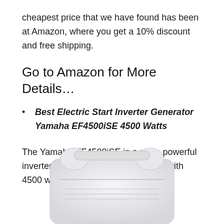cheapest price that we have found has been at Amazon, where you get a 10% discount and free shipping.
Go to Amazon for More Details…
Best Electric Start Inverter Generator Yamaha EF4500iSE 4500 Watts
The Yamaha EF4500iSE is a more powerful inverter generator with electric start, with 4500 watts of power at your disposal.
[Figure (photo): Partial view of a white Yamaha EF4500iSE inverter generator, showing the top and handle portion against a white background.]